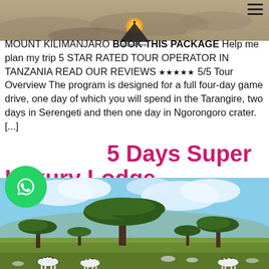[Figure (photo): Top banner photo showing African savanna landscape with dry grassy terrain and sparse trees]
MOUNT KILIMANJARO BOOK THIS PACKAGE Help me plan my trip 5 STAR RATED TOUR OPERATOR IN TANZANIA READ OUR REVIEWS ★★★★★ 5/5 Tour Overview The program is designed for a full four-day game drive, one day of which you will spend in the Tarangire, two days in Serengeti and then one day in Ngorongoro crater. [...]
5 Days Super Luxury Lodge Safari
[Figure (photo): African savanna scene with acacia trees and zebras grazing on grassland under blue sky with clouds]